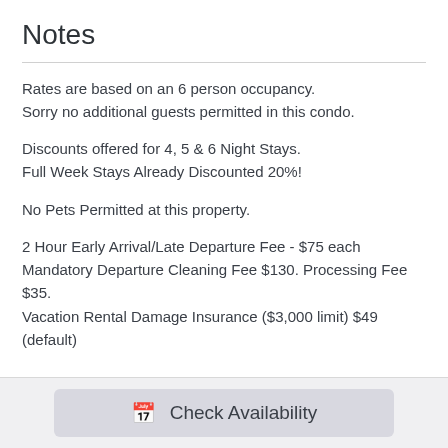Notes
Rates are based on an 6 person occupancy.
Sorry no additional guests permitted in this condo.
Discounts offered for 4, 5 & 6 Night Stays.
Full Week Stays Already Discounted 20%!
No Pets Permitted at this property.
2 Hour Early Arrival/Late Departure Fee - $75 each
Mandatory Departure Cleaning Fee $130. Processing Fee $35.
Vacation Rental Damage Insurance ($3,000 limit) $49 (default)
Check Availability